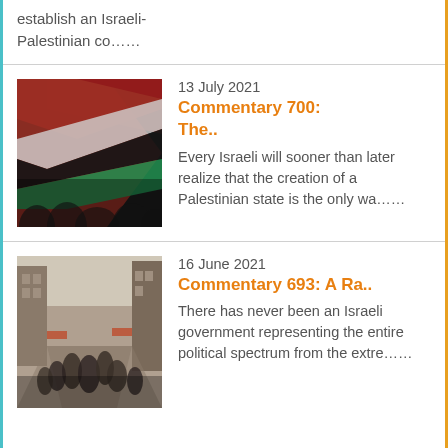establish an Israeli-Palestinian co……
[Figure (photo): Palestinian flags waving in a crowd]
13 July 2021
Commentary 700: The..
Every Israeli will sooner than later realize that the creation of a Palestinian state is the only wa……
[Figure (photo): Busy street scene in a Middle Eastern city with crowds of people]
16 June 2021
Commentary 693: A Ra..
There has never been an Israeli government representing the entire political spectrum from the extre……